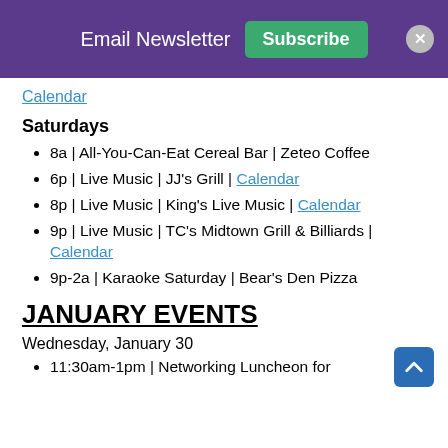Email Newsletter  Subscribe  ×
Calendar
Saturdays
8a | All-You-Can-Eat Cereal Bar | Zeteo Coffee
6p | Live Music | JJ's Grill | Calendar
8p | Live Music | King's Live Music | Calendar
9p | Live Music | TC's Midtown Grill & Billiards | Calendar
9p-2a | Karaoke Saturday | Bear's Den Pizza
JANUARY EVENTS
Wednesday, January 30
11:30am-1pm | Networking Luncheon for